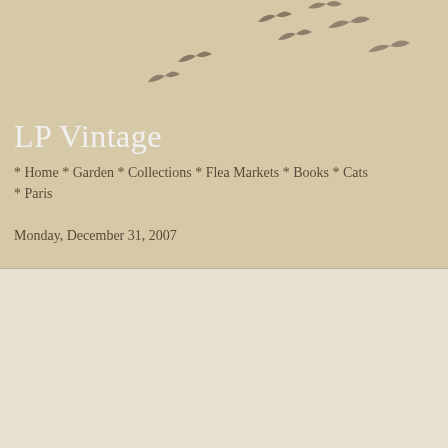[Figure (illustration): Flying birds silhouettes scattered across beige/tan header background]
LP Vintage
* Home * Garden * Collections * Flea Markets * Books * Cats * Paris
Monday, December 31, 2007
New Year Wishes
[Figure (photo): Vintage decorative item - appears to be an ornate envelope or card with purple calligraphic lettering and a dark wax seal with a horseshoe motif, against a white background]